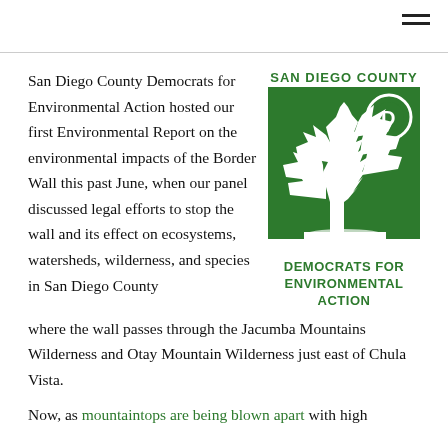San Diego County Democrats for Environmental Action hosted our first Environmental Report on the environmental impacts of the Border Wall this past June, when our panel discussed legal efforts to stop the wall and its effect on ecosystems, watersheds, wilderness, and species in San Diego County where the wall passes through the Jacumba Mountains Wilderness and Otay Mountain Wilderness just east of Chula Vista.
[Figure (logo): San Diego County Democrats for Environmental Action logo: green square with white tree silhouette and Democrat D circle symbol, with text SAN DIEGO COUNTY above and DEMOCRATS FOR ENVIRONMENTAL ACTION below]
Now, as mountaintops are being blown apart with high